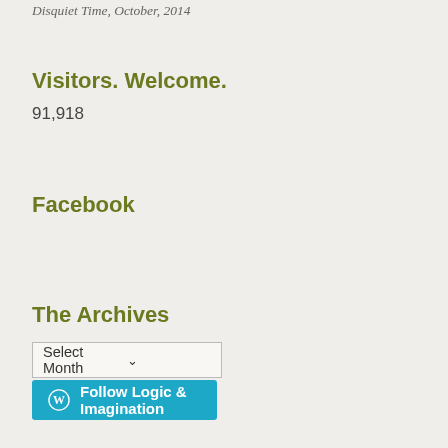Disquiet Time, October, 2014
Visitors. Welcome.
91,918
Facebook
The Archives
Select Month
Follow Logic & Imagination